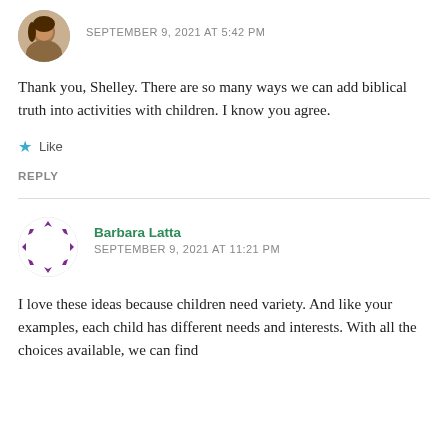SEPTEMBER 9, 2021 AT 5:42 PM
Thank you, Shelley. There are so many ways we can add biblical truth into activities with children. I know you agree.
Like
REPLY
Barbara Latta
SEPTEMBER 9, 2021 AT 11:21 PM
I love these ideas because children need variety. And like your examples, each child has different needs and interests. With all the choices available, we can find